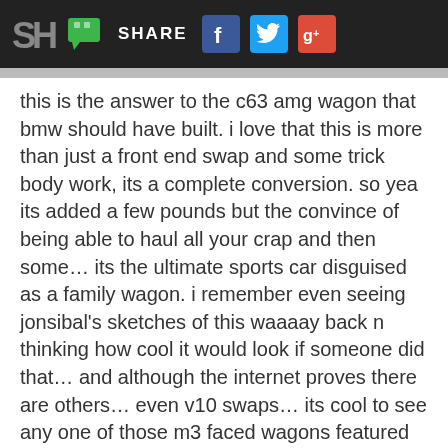SH | SHARE [social icons: Facebook, Twitter, Google+]
this is the answer to the c63 amg wagon that bmw should have built. i love that this is more than just a front end swap and some trick body work, its a complete conversion. so yea its added a few pounds but the convince of being able to haul all your crap and then some... its the ultimate sports car disguised as a family wagon. i remember even seeing jonsibal's sketches of this waaaay back n thinking how cool it would look if someone did that... and although the internet proves there are others... even v10 swaps... its cool to see any one of those m3 faced wagons featured in SH.